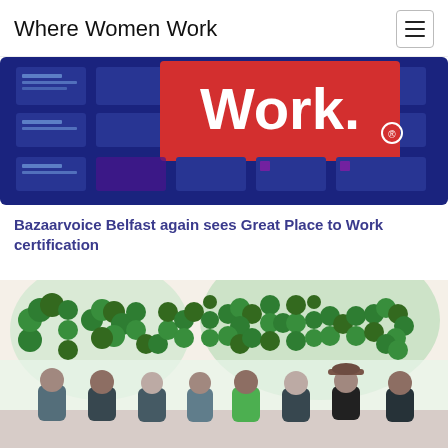Where Women Work
[Figure (photo): Banner image showing 'Work.' text in white on a red background, overlaid on a blue grid/calendar interface]
Bazaarvoice Belfast again sees Great Place to Work certification
[Figure (photo): Group of people standing in front of a large decorative green balloon letter sign spelling 'flourishing']